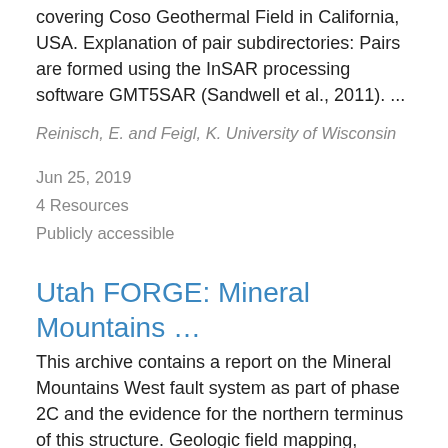covering Coso Geothermal Field in California, USA. Explanation of pair subdirectories: Pairs are formed using the InSAR processing software GMT5SAR (Sandwell et al., 2011). ...
Reinisch, E. and Feigl, K. University of Wisconsin
Jun 25, 2019
4 Resources
Publicly accessible
Utah FORGE: Mineral Mountains …
This archive contains a report on the Mineral Mountains West fault system as part of phase 2C and the evidence for the northern terminus of this structure. Geologic field mapping, reprocessing of 3D seismic reflection data, and soil gas surveys contributed to this effort.
Simmons, S. and Miller, J. Energy and Geoscience Institute at the University of Utah
Jul 01, 2019